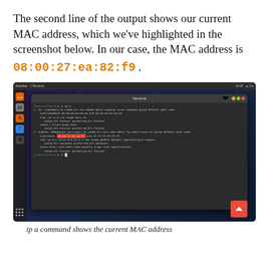The second line of the output shows our current MAC address, which we've highlighted in the screenshot below. In our case, the MAC address is 08:00:27:ea:82:f9 .
[Figure (screenshot): Ubuntu desktop screenshot showing a terminal window with the output of the 'ip a' command. The MAC address 08:00:27:ea:82:f9 is highlighted with a red box on the link/ether line.]
ip a command shows the current MAC address